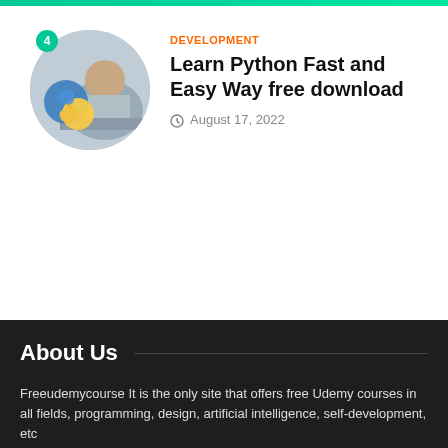[Figure (photo): Circular thumbnail image of a person working at a laptop with Python logo overlay, with a teal badge showing '4' in the top-left corner]
DEVELOPMENT
Learn Python Fast and Easy Way free download
August 17, 2022
About Us
Freeudemycourse It is the only site that offers free Udemy courses in all fields, programming, design, artificial intelligence, self-development, etc